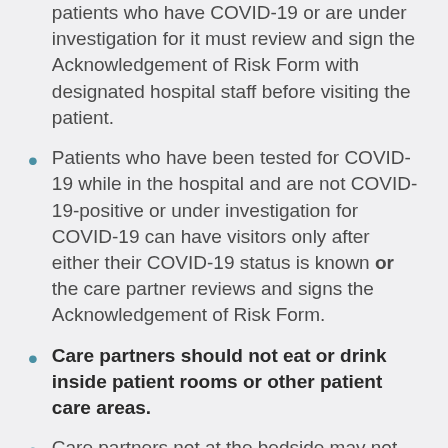patients who have COVID-19 or are under investigation for it must review and sign the Acknowledgement of Risk Form with designated hospital staff before visiting the patient.
Patients who have been tested for COVID-19 while in the hospital and are not COVID-19-positive or under investigation for COVID-19 can have visitors only after either their COVID-19 status is known or the care partner reviews and signs the Acknowledgement of Risk Form.
Care partners should not eat or drink inside patient rooms or other patient care areas.
Care partners not at the bedside may not wait in common areas in UMMS facilities.